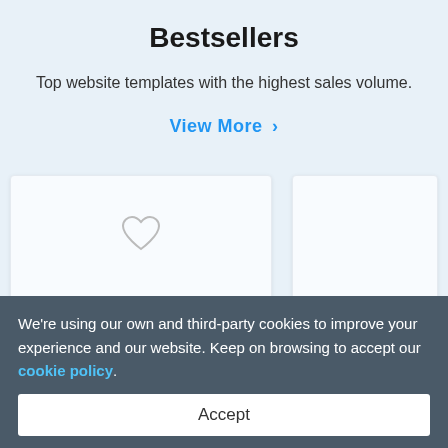Bestsellers
Top website templates with the highest sales volume.
View More >
[Figure (screenshot): Two product cards showing website templates side by side; left card is wider with a heart/favorite icon; right card is partially visible. Below the cards are product names and author labels partially obscured by a cookie consent banner.]
We're using our own and third-party cookies to improve your experience and our website. Keep on browsing to accept our cookie policy.
Accept